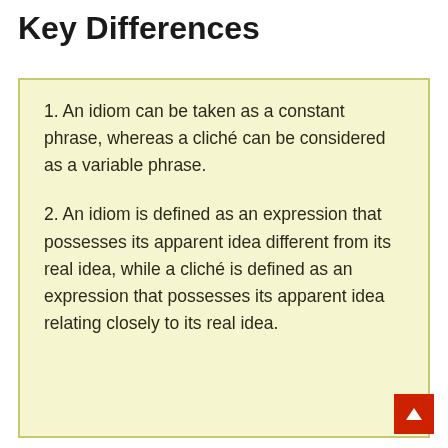Key Differences
1. An idiom can be taken as a constant phrase, whereas a cliché can be considered as a variable phrase.
2. An idiom is defined as an expression that possesses its apparent idea different from its real idea, while a cliché is defined as an expression that possesses its apparent idea relating closely to its real idea.